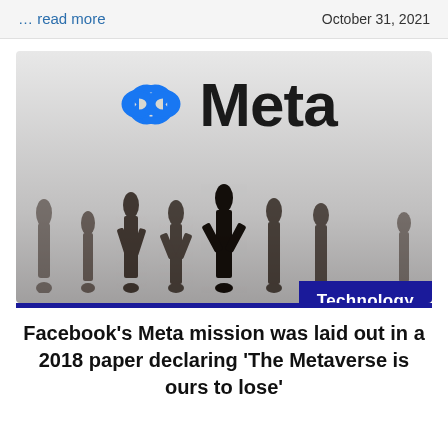… read more
October 31, 2021
[Figure (photo): Small figurines of human silhouettes standing in front of a blurred Meta logo (infinity symbol and 'Meta' text). A 'Technology' badge appears in the bottom-right corner of the image.]
Facebook's Meta mission was laid out in a 2018 paper declaring 'The Metaverse is ours to lose'